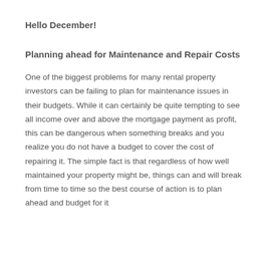Hello December!
Planning ahead for Maintenance and Repair Costs
One of the biggest problems for many rental property investors can be failing to plan for maintenance issues in their budgets. While it can certainly be quite tempting to see all income over and above the mortgage payment as profit, this can be dangerous when something breaks and you realize you do not have a budget to cover the cost of repairing it. The simple fact is that regardless of how well maintained your property might be, things can and will break from time to time so the best course of action is to plan ahead and budget for it